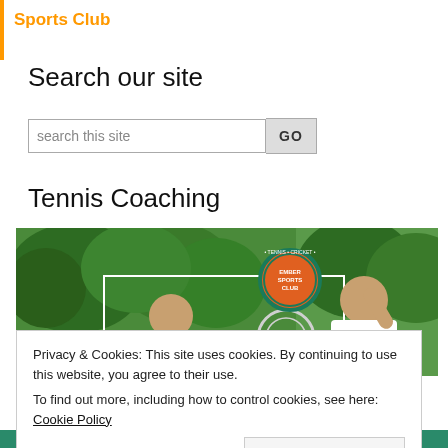Sports Club
Search our site
search this site  GO
Tennis Coaching
[Figure (photo): Children playing tennis on an outdoor court with green trees in background. An Ember Sports Club circular logo/badge is visible in the upper center of the image.]
Privacy & Cookies: This site uses cookies. By continuing to use this website, you agree to their use.
To find out more, including how to control cookies, see here: Cookie Policy
Close and accept